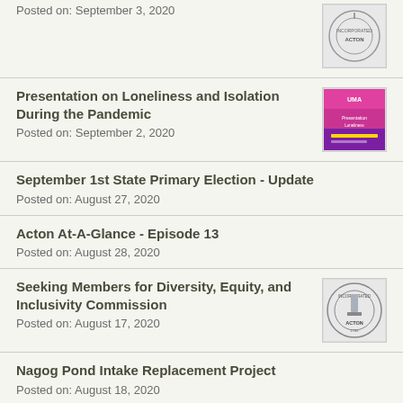Posted on: September 3, 2020
[Figure (illustration): Acton town seal/logo]
Presentation on Loneliness and Isolation During the Pandemic
Posted on: September 2, 2020
[Figure (illustration): Pink/purple event poster thumbnail]
September 1st State Primary Election - Update
Posted on: August 27, 2020
Acton At-A-Glance - Episode 13
Posted on: August 28, 2020
Seeking Members for Diversity, Equity, and Inclusivity Commission
Posted on: August 17, 2020
[Figure (illustration): Acton town seal/logo circular]
Nagog Pond Intake Replacement Project
Posted on: August 18, 2020
September 1st State Primary Election Information...